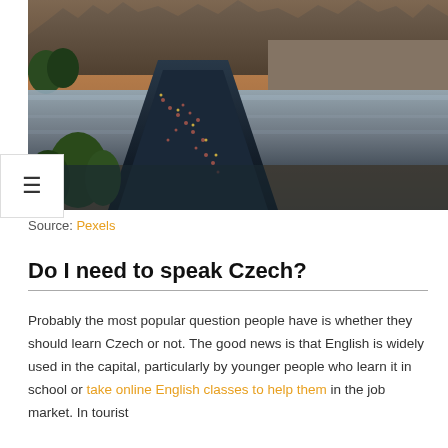[Figure (photo): Aerial view of Prague's Charles Bridge over the Vltava River, with crowds of tourists walking across the bridge, red-roofed buildings and Prague Castle visible in the background at dusk]
Source: Pexels
Do I need to speak Czech?
Probably the most popular question people have is whether they should learn Czech or not. The good news is that English is widely used in the capital, particularly by younger people who learn it in school or take online English classes to help them in the job market. In tourist